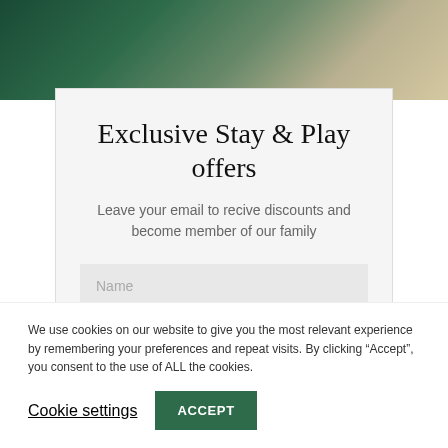[Figure (photo): Dark green to beige textured background gradient across the top of the page]
Exclusive Stay & Play offers
Leave your email to recive discounts and become member of our family
[Figure (screenshot): Name input field placeholder]
We use cookies on our website to give you the most relevant experience by remembering your preferences and repeat visits. By clicking “Accept”, you consent to the use of ALL the cookies.
Cookie settings
ACCEPT